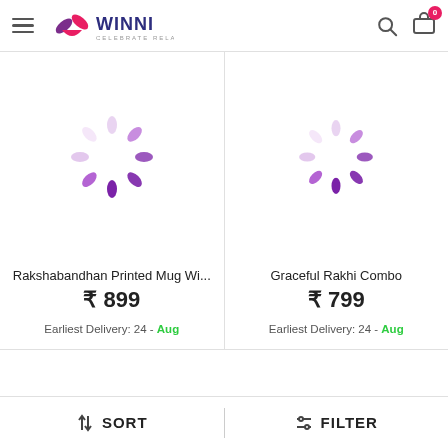WINNI — CELEBRATE RELATIONS
[Figure (illustration): Loading spinner (purple rotating dots) for product image placeholder — left product card]
Rakshabandhan Printed Mug Wi...
₹ 899
Earliest Delivery: 24 - Aug
[Figure (illustration): Loading spinner (purple rotating dots) for product image placeholder — right product card]
Graceful Rakhi Combo
₹ 799
Earliest Delivery: 24 - Aug
↑↓ SORT   |   ⇔ FILTER